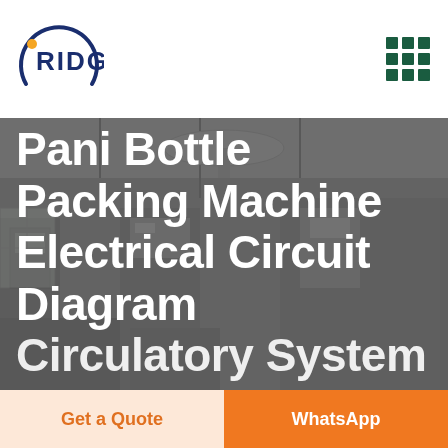[Figure (logo): RIDGE company logo with arc and star icon, dark blue text]
[Figure (other): 3x3 grid of dark green squares forming a menu icon]
[Figure (photo): Background photo of an industrial factory/warehouse interior with electrical equipment and machinery, overlaid with dark semi-transparent layer]
Pani Bottle Packing Machine Electrical Circuit Diagram Circulatory System
Get a Quote
WhatsApp